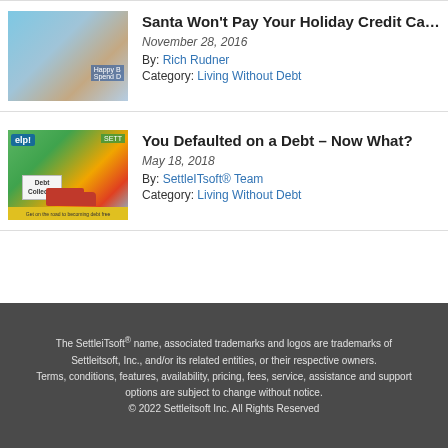[Figure (illustration): Thumbnail image of a Santa Claus character in a shopping mall setting]
Santa Won't Pay Your Holiday Credit Ca…
November 28, 2016
By: Rich Rudner
Category: Living Without Debt
[Figure (illustration): Thumbnail image of a debt collector truck in a city setting]
You Defaulted on a Debt – Now What?
May 18, 2018
By: SettleITsoft® Team
Category: Living Without Debt
The SettleiTsoft® name, associated trademarks and logos are trademarks of Settleitsoft, Inc., and/or its related entities, or their respective owners. Terms, conditions, features, availability, pricing, fees, service, assistance and support options are subject to change without notice. © 2022 Settleitsoft Inc. All Rights Reserved